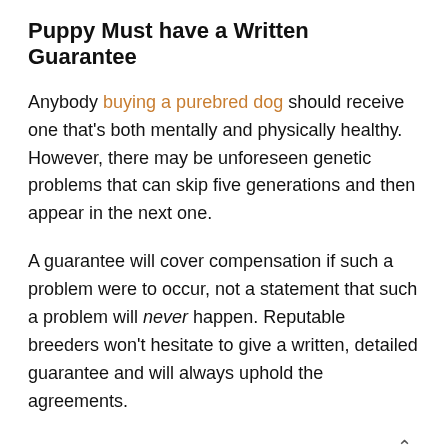Puppy Must have a Written Guarantee
Anybody buying a purebred dog should receive one that's both mentally and physically healthy. However, there may be unforeseen genetic problems that can skip five generations and then appear in the next one.
A guarantee will cover compensation if such a problem were to occur, not a statement that such a problem will never happen. Reputable breeders won't hesitate to give a written, detailed guarantee and will always uphold the agreements.
Don't buy a dog without such an agreement and read it thoroughly so you understand it before